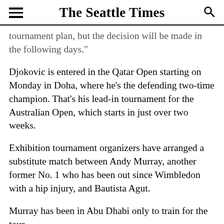The Seattle Times
tournament plan, but the decision will be made in the following days.”
Djokovic is entered in the Qatar Open starting on Monday in Doha, where he’s the defending two-time champion. That’s his lead-in tournament for the Australian Open, which starts in just over two weeks.
Exhibition tournament organizers have arranged a substitute match between Andy Murray, another former No. 1 who has been out since Wimbledon with a hip injury, and Bautista Agut.
Murray has been in Abu Dhabi only to train for the tour.
Bautista Agut will take on the winner of the oth…